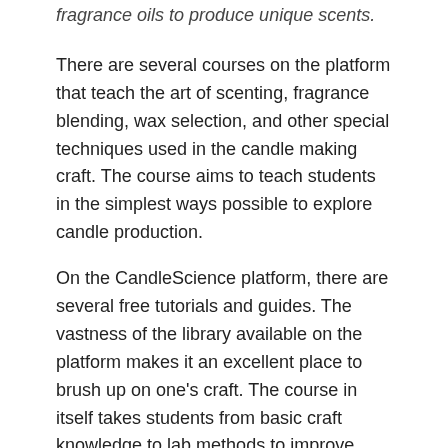fragrance oils to produce unique scents.
There are several courses on the platform that teach the art of scenting, fragrance blending, wax selection, and other special techniques used in the candle making craft. The course aims to teach students in the simplest ways possible to explore candle production.
On the CandleScience platform, there are several free tutorials and guides. The vastness of the library available on the platform makes it an excellent place to brush up on one's craft. The course in itself takes students from basic craft knowledge to lab methods to improve production. And then crowns it all with a holistic look at fragrance oils.
COURSE HIGHLIGHTS:
In-depth knowledge on fragrance oils